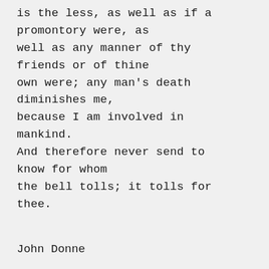is the less, as well as if a promontory were, as well as any manner of thy friends or of thine own were; any man's death diminishes me, because I am involved in mankind. And therefore never send to know for whom the bell tolls; it tolls for thee.
John Donne